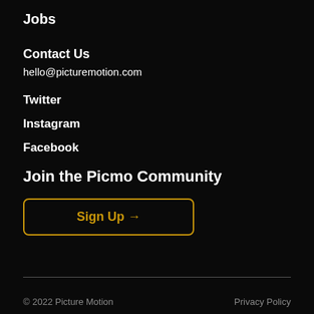Jobs
Contact Us
hello@picturemotion.com
Twitter
Instagram
Facebook
Join the Picmo Community
Sign Up →
© 2022 Picture Motion    Privacy Policy